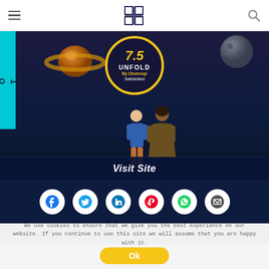≡  [logo]  🔍
[Figure (screenshot): Hero banner with dark space background, Saturn planet on left, moon on right, two illustrated characters in center. Score badge showing 7.5 UNFOLD By Clevercup Switzerland. SOTD vertical label on left. Visit Site text overlay. Six social media share icons (Facebook, Twitter, LinkedIn, Pinterest, WhatsApp, Email).]
We use cookies to ensure that we give you the best experience on our website. If you continue to use this site we will assume that you are happy with it.
Ok